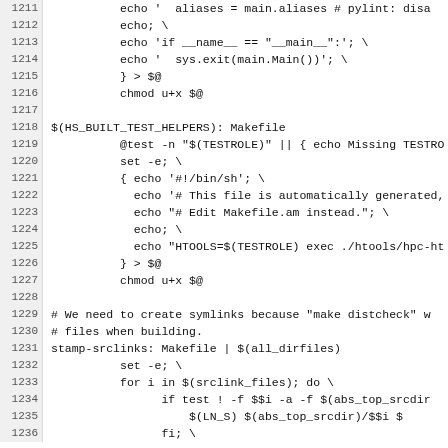Code listing lines 1211-1236, Makefile shell commands for building test helpers and stamp-srclinks
1211:         echo '  aliases = main.aliases # pylint: disa
1212:         echo; \
1213:         echo 'if __name__ == "__main__":'; \
1214:         echo '  sys.exit(main.Main())'; \
1215:         } > $@
1216:         chmod u+x $@
1217: (empty)
1218: $(HS_BUILT_TEST_HELPERS): Makefile
1219:         @test -n "$(TESTROLE)" || { echo Missing TESTRO
1220:         set -e; \
1221:         { echo '#!/bin/sh'; \
1222:           echo '# This file is automatically generated,
1223:           echo "# Edit Makefile.am instead."; \
1224:           echo; \
1225:           echo "HTOOLS=$(TESTROLE) exec ./htools/hpc-ht
1226:         } > $@
1227:         chmod u+x $@
1228: (empty)
1229: # We need to create symlinks because "make distcheck" w
1230: # files when building.
1231: stamp-srclinks: Makefile | $(all_dirfiles)
1232:         set -e; \
1233:         for i in $(srclink_files); do \
1234:                 if test ! -f $$i -a -f $(abs_top_srcdir
1235:                         $(LN_S) $(abs_top_srcdir)/$$i $
1236:                 fi; \